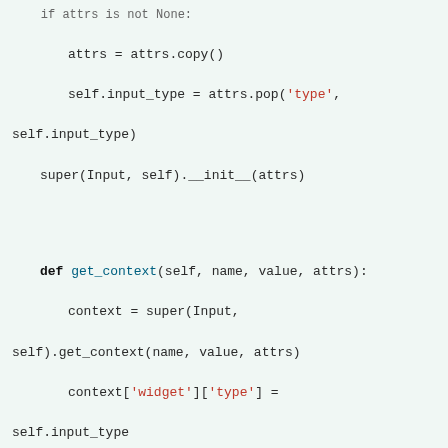[Figure (screenshot): Python source code snippet showing Input widget class methods and TextInput/NumberInput class definitions with Django documentation sidebar showing Getting Help, Language: el, and Documentation version: 1.11]
attrs = attrs.copy()
self.input_type = attrs.pop('type', self.input_type)
super(Input, self).__init__(attrs)
def get_context(self, name, value, attrs):
    context = super(Input, self).get_context(name, value, attrs)
    context['widget']['type'] = self.input_type
    return context
[τεκμηρίωση]class TextInput(Input):
    input_type = 'text'
    template_name = 'django/forms/widgets/text.html'
[τεκμηρίωση]class NumberInput(Input):